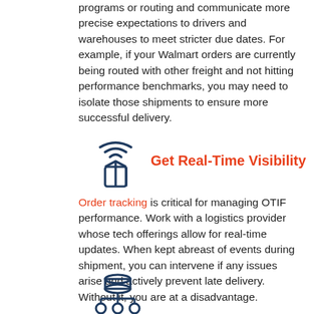programs or routing and communicate more precise expectations to drivers and warehouses to meet stricter due dates. For example, if your Walmart orders are currently being routed with other freight and not hitting performance benchmarks, you may need to isolate those shipments to ensure more successful delivery.
[Figure (illustration): Dark navy icon of a wireless/signal wave above a package/cube box symbol]
Get Real-Time Visibility
Order tracking is critical for managing OTIF performance. Work with a logistics provider whose tech offerings allow for real-time updates. When kept abreast of events during shipment, you can intervene if any issues arise and actively prevent late delivery. Without it, you are at a disadvantage.
[Figure (illustration): Dark navy icon of a database/server connected to an organizational hierarchy chart below]